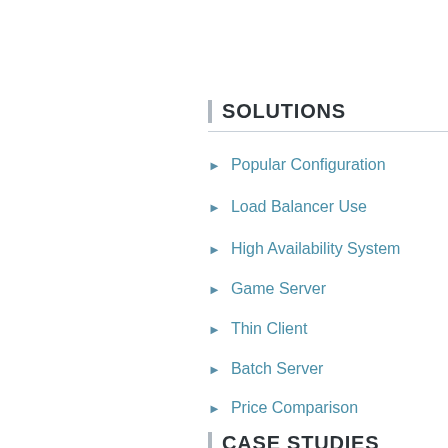SOLUTIONS
Popular Configuration
Load Balancer Use
High Availability System
Game Server
Thin Client
Batch Server
Price Comparison
CASE STUDIES